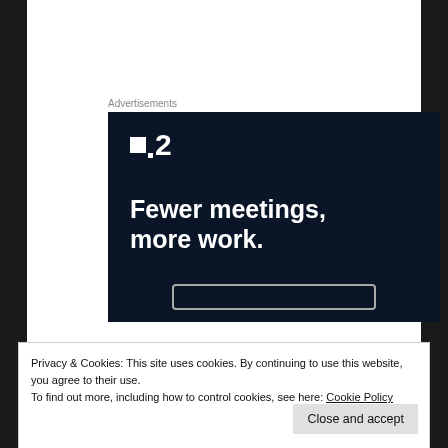Advertisements
[Figure (screenshot): Dark navy advertisement banner for a project management tool showing a logo with a square icon and the number 2, with tagline 'Fewer meetings, more work.']
Privacy & Cookies: This site uses cookies. By continuing to use this website, you agree to their use.
To find out more, including how to control cookies, see here: Cookie Policy
Close and accept